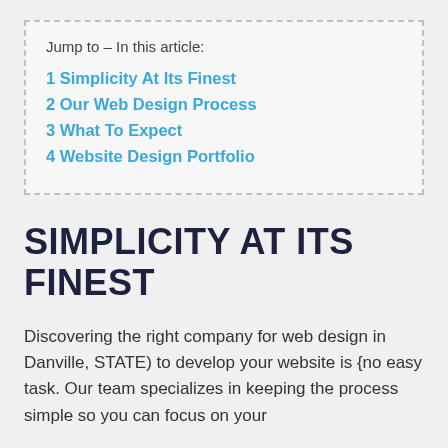Jump to – In this article:
1 Simplicity At Its Finest
2 Our Web Design Process
3 What To Expect
4 Website Design Portfolio
SIMPLICITY AT ITS FINEST
Discovering the right company for web design in Danville, STATE) to develop your website is {no easy task. Our team specializes in keeping the process simple so you can focus on your